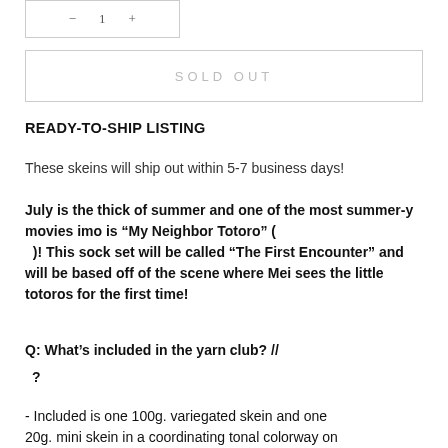[Figure (other): Quantity input box with increment/decrement controls]
SOLD OUT
READY-TO-SHIP LISTING
These skeins will ship out within 5-7 business days!
July is the thick of summer and one of the most summer-y movies imo is “My Neighbor Totoro” (  )! This sock set will be called “The First Encounter” and will be based off of the scene where Mei sees the little totoros for the first time!
Q: What’s included in the yarn club? //
  ?
- Included is one 100g. variegated skein and one 20g. mini skein in a coordinating tonal colorway on